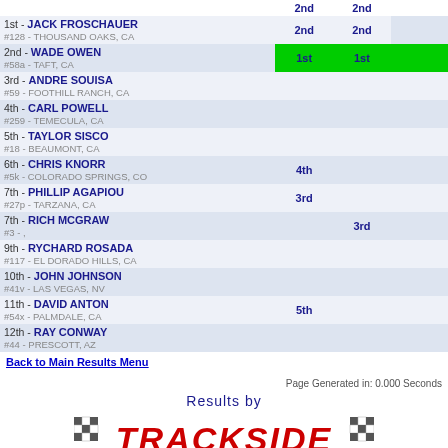| Driver | 2nd | 2nd |
| --- | --- | --- |
| 1st - JACK FROSCHAUER #128 - THOUSAND OAKS, CA | 2nd | 2nd |
| 2nd - WADE OWEN #58a - TAFT, CA | 1st | 1st |
| 3rd - ANDRE SOUISA #59 - FOOTHILL RANCH, CA |  |  |
| 4th - CARL POWELL #259 - TEMECULA, CA |  |  |
| 5th - TAYLOR SISCO #18 - BEAUMONT, CA |  |  |
| 6th - CHRIS KNORR #5k - COLORADO SPRINGS, CO | 4th |  |
| 7th - PHILLIP AGAPIOU #27p - TARZANA, CA | 3rd |  |
| 7th - RICH MCGRAW #3 - , |  | 3rd |
| 9th - RYCHARD ROSADA #117 - EL DORADO HILLS, CA |  |  |
| 10th - JOHN JOHNSON #41v - LAS VEGAS, NV |  |  |
| 11th - DAVID ANTON #54x - PALMDALE, CA | 5th |  |
| 12th - RAY CONWAY #44 - PRESCOTT, AZ |  |  |
Back to Main Results Menu
Page Generated in: 0.000 Seconds
[Figure (logo): Trackside Software logo with checkered flags, 'Results by TRACKSIDE Software for Race Promoters www.tracksidesoftware.com Online Reporting Tool']